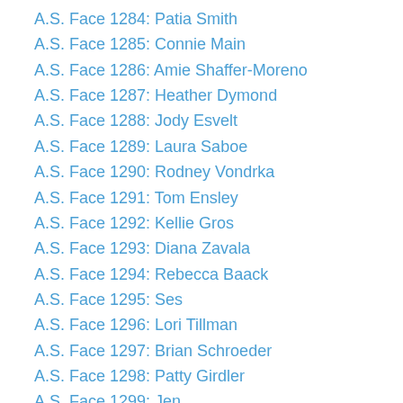A.S. Face 1284: Patia Smith
A.S. Face 1285: Connie Main
A.S. Face 1286: Amie Shaffer-Moreno
A.S. Face 1287: Heather Dymond
A.S. Face 1288: Jody Esvelt
A.S. Face 1289: Laura Saboe
A.S. Face 1290: Rodney Vondrka
A.S. Face 1291: Tom Ensley
A.S. Face 1292: Kellie Gros
A.S. Face 1293: Diana Zavala
A.S. Face 1294: Rebecca Baack
A.S. Face 1295: Ses
A.S. Face 1296: Lori Tillman
A.S. Face 1297: Brian Schroeder
A.S. Face 1298: Patty Girdler
A.S. Face 1299: Jen
A.S. Face 1300: Amy Sumner-McCluney
A.S. Face 1301: Gretchen Bergman
A.S. Face 1302: George Nalan Jr.
A.S. Face 1303: Mike Young